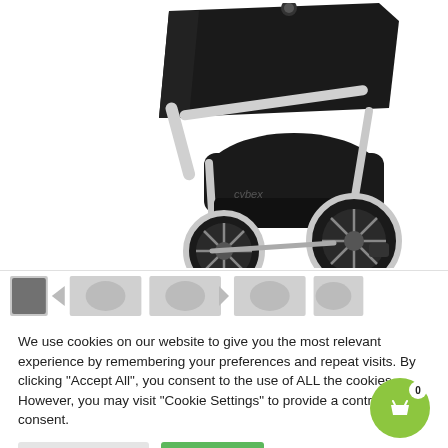[Figure (photo): A black baby stroller/pram with a white frame, large wheels with white rims, and a black canopy/seat unit. The stroller is shown on a white background. The brand 'cybex' is visible on the body.]
[Figure (photo): A horizontal strip of thumbnail images of the stroller from different angles, partially visible at the bottom of the main image area.]
We use cookies on our website to give you the most relevant experience by remembering your preferences and repeat visits. By clicking "Accept All", you consent to the use of ALL the cookies. However, you may visit "Cookie Settings" to provide a controlled consent.
Cookie Settings
Accept All